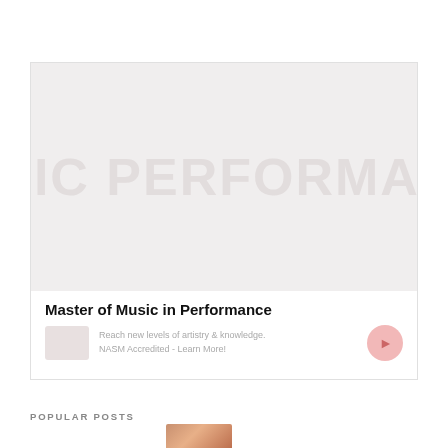[Figure (infographic): Advertisement box for 'Master of Music in Performance' with a faded background image of a musician, bold headline, descriptive text 'Reach new levels of artistry & knowledge. NASM Accredited - Learn More!', a logo placeholder, and a circular call-to-action button with arrow.]
POPULAR POSTS
[Figure (photo): Partial photo of a person (musician), visible at bottom of page under POPULAR POSTS section.]